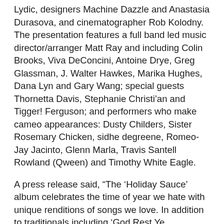Lydic, designers Machine Dazzle and Anastasia Durasova, and cinematographer Rob Kolodny. The presentation features a full band led music director/arranger Matt Ray and including Colin Brooks, Viva DeConcini, Antoine Drye, Greg Glassman, J. Walter Hawkes, Marika Hughes, Dana Lyn and Gary Wang; special guests Thornetta Davis, Stephanie Christi'an and Tigger! Ferguson; and performers who make cameo appearances: Dusty Childers, Sister Rosemary Chicken, sidhe degreene, Romeo-Jay Jacinto, Glenn Marla, Travis Santell Rowland (Qween) and Timothy White Eagle.
A press release said, “The ‘Holiday Sauce’ album celebrates the time of year we hate with unique renditions of songs we love. In addition to traditionals including ‘God Rest Ye Gentlemen,’ ‘How Can I Keep from Singing?,’ ‘Little Drummer Boy,’ and ‘Silent Night,’ the recording features an original titled ‘Christmas with